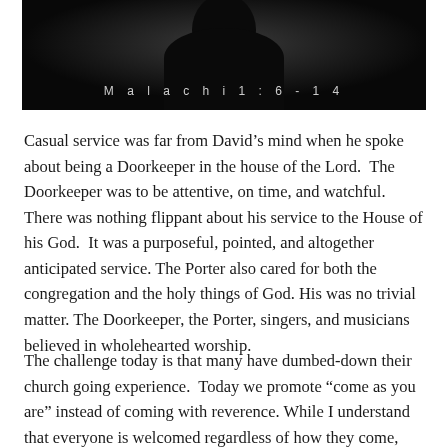[Figure (photo): Dark photograph showing a silhouette of a person against a dark background, with the text 'Malachi 1:6-14' overlaid at the bottom in light spaced lettering]
Casual service was far from David’s mind when he spoke about being a Doorkeeper in the house of the Lord.  The Doorkeeper was to be attentive, on time, and watchful.  There was nothing flippant about his service to the House of his God.  It was a purposeful, pointed, and altogether anticipated service. The Porter also cared for both the congregation and the holy things of God. His was no trivial matter. The Doorkeeper, the Porter, singers, and musicians believed in wholehearted worship.
The challenge today is that many have dumbed-down their church going experience.  Today we promote “come as you are” instead of coming with reverence. While I understand that everyone is welcomed regardless of how they come, there is an underlying thought that comes along and a sense of responsibility